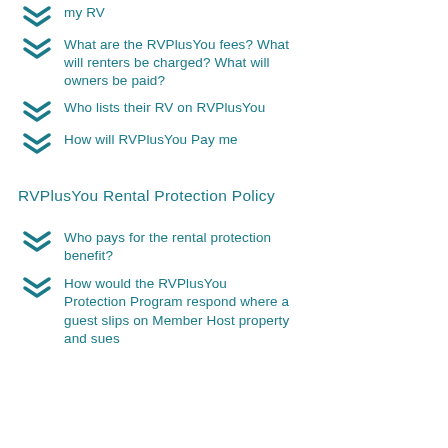my RV
What are the RVPlusYou fees? What will renters be charged? What will owners be paid?
Who lists their RV on RVPlusYou
How will RVPlusYou Pay me
RVPlusYou Rental Protection Policy
Who pays for the rental protection benefit?
How would the RVPlusYou Protection Program respond where a guest slips on Member Host property and sues